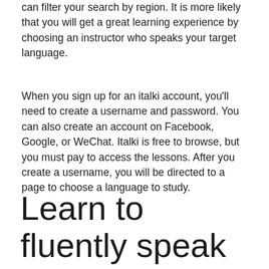can filter your search by region. It is more likely that you will get a great learning experience by choosing an instructor who speaks your target language.
When you sign up for an italki account, you'll need to create a username and password. You can also create an account on Facebook, Google, or WeChat. Italki is free to browse, but you must pay to access the lessons. After you create a username, you will be directed to a page to choose a language to study.
Learn to fluently speak any language